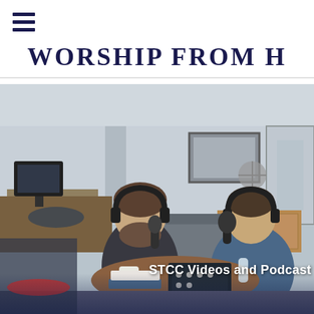WORSHIP FROM H
[Figure (photo): Two men sitting at a round table in an office/studio setting, both wearing headphones and speaking into microphones for a podcast recording. The man on the left has a beard and dark shirt, the man on the right is in a blue t-shirt. Recording equipment including a mixer is on the table along with books, a mug, and a water bottle. Office furniture visible in background.]
STCC Videos and Podcast